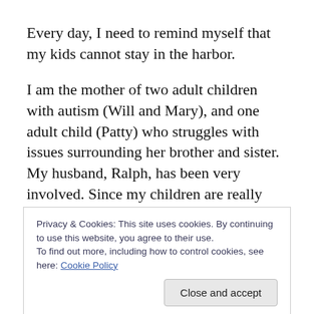Every day, I need to remind myself that my kids cannot stay in the harbor.
I am the mother of two adult children with autism (Will and Mary), and one adult child (Patty) who struggles with issues surrounding her brother and sister. My husband, Ralph, has been very involved. Since my children are really starting out in life/transition to jobs, the names have been changed to protect the innocent.
Will and Mary are very high functioning young adults with autism. There are a lot of them around. At the time of their
Privacy & Cookies: This site uses cookies. By continuing to use this website, you agree to their use.
To find out more, including how to control cookies, see here: Cookie Policy
Bachelors in Accounting. I will be writing about the